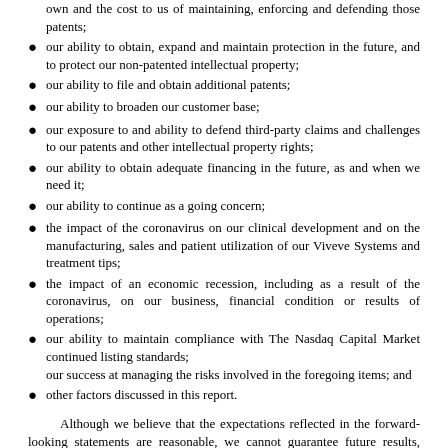own and the cost to us of maintaining, enforcing and defending those patents;
our ability to obtain, expand and maintain protection in the future, and to protect our non-patented intellectual property;
our ability to file and obtain additional patents;
our ability to broaden our customer base;
our exposure to and ability to defend third-party claims and challenges to our patents and other intellectual property rights;
our ability to obtain adequate financing in the future, as and when we need it;
our ability to continue as a going concern;
the impact of the coronavirus on our clinical development and on the manufacturing, sales and patient utilization of our Viveve Systems and treatment tips;
the impact of an economic recession, including as a result of the coronavirus, on our business, financial condition or results of operations;
our ability to maintain compliance with The Nasdaq Capital Market continued listing standards; our success at managing the risks involved in the foregoing items; and
other factors discussed in this report.
Although we believe that the expectations reflected in the forward-looking statements are reasonable, we cannot guarantee future results, levels of activity, performance or achievements. The forward-looking statements are based upon management's beliefs and assumptions and are made as of the date of this report. We undertake no obligation to publicly